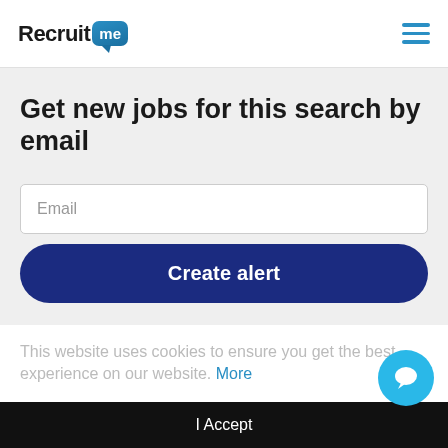[Figure (logo): RecruitMe logo with blue speech bubble badge]
[Figure (other): Hamburger menu icon (three horizontal blue lines)]
Get new jobs for this search by email
Email
Create alert
This website uses cookies to ensure you get the best experience on our website. More
I Accept